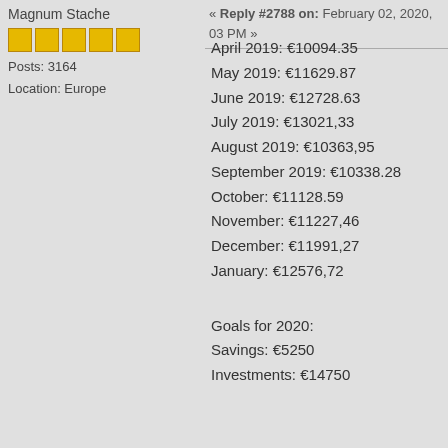« Reply #2788 on: February 02, 2020, 03 PM »
Magnum Stache
Posts: 3164
Location: Europe
April 2019: €10094.35
May 2019: €11629.87
June 2019: €12728.63
July 2019: €13021,33
August 2019: €10363,95
September 2019: €10338.28
October: €11128.59
November: €11227,46
December: €11991,27
January: €12576,72
Goals for 2020:
Savings: €5250
Investments: €14750
Dave15
5 O'Clock Shadow
Posts: 20
Re: Race from 10 to 100k!! « Reply #2789 on: February 03, 2020, 04 AM »
Quote from: Dave15 on October 01, 2019, 10:26